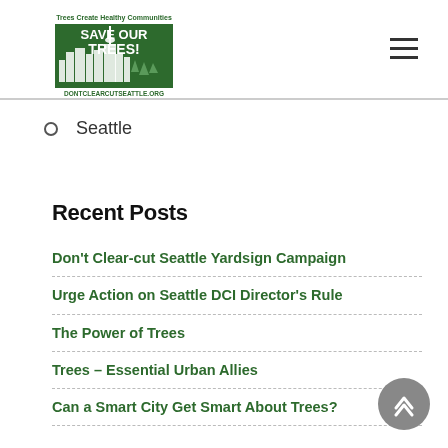[Figure (logo): Don't Clear-cut Seattle logo with city skyline and trees, green and white, text 'SAVE OUR TREES!' and 'DONTCLEARCUTSEATTLE.ORG', 'Trees Create Healthy Communities']
Seattle
Recent Posts
Don't Clear-cut Seattle Yardsign Campaign
Urge Action on Seattle DCI Director's Rule
The Power of Trees
Trees – Essential Urban Allies
Can a Smart City Get Smart About Trees?